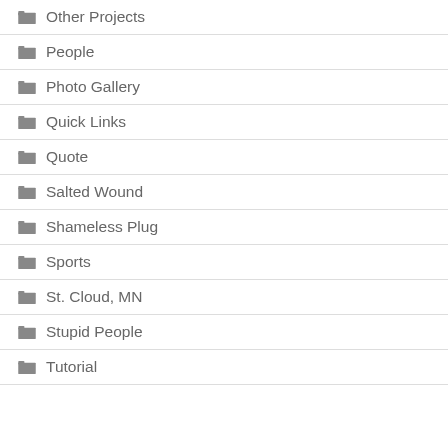Other Projects
People
Photo Gallery
Quick Links
Quote
Salted Wound
Shameless Plug
Sports
St. Cloud, MN
Stupid People
Tutorial